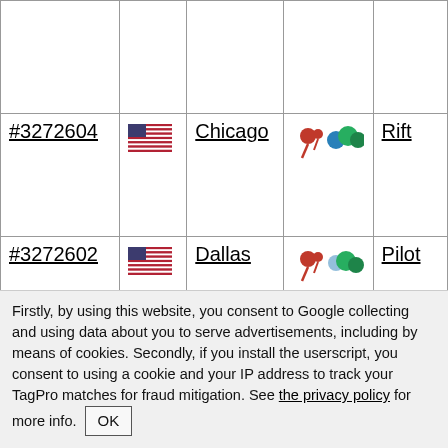| ID | Flag | City | Icons | Name |
| --- | --- | --- | --- | --- |
|  |  |  |  |  |
| #3272604 | US flag | Chicago | pins | Rift |
| #3272602 | US flag | Dallas | pins | Pilot |
| #3272600 | US flag | Dallas | pins | Some Ring |
Firstly, by using this website, you consent to Google collecting and using data about you to serve advertisements, including by means of cookies. Secondly, if you install the userscript, you consent to using a cookie and your IP address to track your TagPro matches for fraud mitigation. See the privacy policy for more info. OK